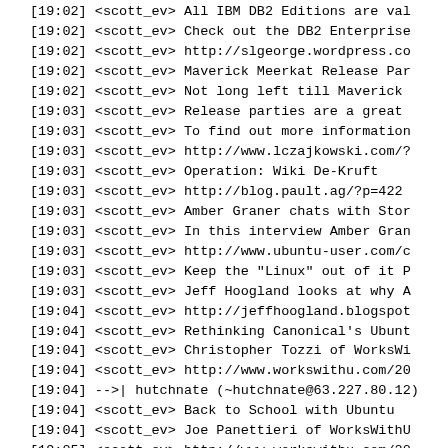[19:02] <scott_ev>      All IBM DB2 Editions are val...
[19:02] <scott_ev>      Check out the DB2 Enterprise...
[19:02] <scott_ev>      http://slgeorge.wordpress.co...
[19:02] <scott_ev>      Maverick Meerkat Release Par...
[19:02] <scott_ev>      Not long left till Maverick ...
[19:03] <scott_ev>      Release parties are a great ...
[19:03] <scott_ev>      To find out more information...
[19:03] <scott_ev>      http://www.lczajkowski.com/?...
[19:03] <scott_ev>      Operation: Wiki De-Kruft
[19:03] <scott_ev>      http://blog.pault.ag/?p=422
[19:03] <scott_ev>      Amber Graner chats with Stor...
[19:03] <scott_ev>      In this interview Amber Gran...
[19:03] <scott_ev>      http://www.ubuntu-user.com/c...
[19:03] <scott_ev>      Keep the "Linux" out of it P...
[19:03] <scott_ev>      Jeff Hoogland looks at why A...
[19:04] <scott_ev>      http://jeffhoogland.blogspot...
[19:04] <scott_ev>      Rethinking Canonical's Ubunt...
[19:04] <scott_ev>      Christopher Tozzi of WorksWi...
[19:04] <scott_ev>      http://www.workswithu.com/20...
[19:04] -->|      hutchnate (~hutchnate@63.227.80.12) ...
[19:04] <scott_ev>      Back to School with Ubuntu
[19:04] <scott_ev>      Joe Panettieri of WorksWithU...
[19:05] <scott_ev>      http://www.workswithu.com/20...